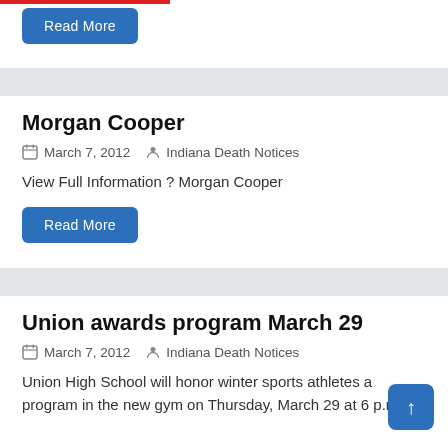Read More
Morgan Cooper
March 7, 2012   Indiana Death Notices
View Full Information ? Morgan Cooper
Read More
Union awards program March 29
March 7, 2012   Indiana Death Notices
Union High School will honor winter sports athletes a program in the new gym on Thursday, March 29 at 6 p.m.